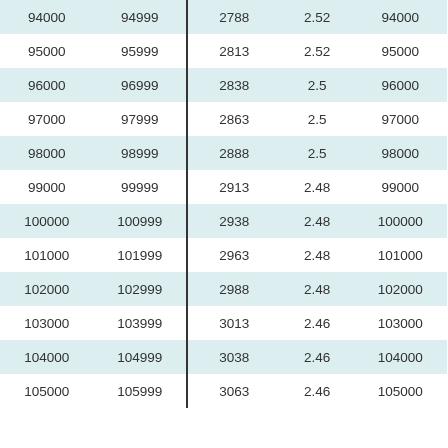| 94000 | 94999 | 2788 | 2.52 | 94000 |
| 95000 | 95999 | 2813 | 2.52 | 95000 |
| 96000 | 96999 | 2838 | 2.5 | 96000 |
| 97000 | 97999 | 2863 | 2.5 | 97000 |
| 98000 | 98999 | 2888 | 2.5 | 98000 |
| 99000 | 99999 | 2913 | 2.48 | 99000 |
| 100000 | 100999 | 2938 | 2.48 | 100000 |
| 101000 | 101999 | 2963 | 2.48 | 101000 |
| 102000 | 102999 | 2988 | 2.48 | 102000 |
| 103000 | 103999 | 3013 | 2.46 | 103000 |
| 104000 | 104999 | 3038 | 2.46 | 104000 |
| 105000 | 105999 | 3063 | 2.46 | 105000 |